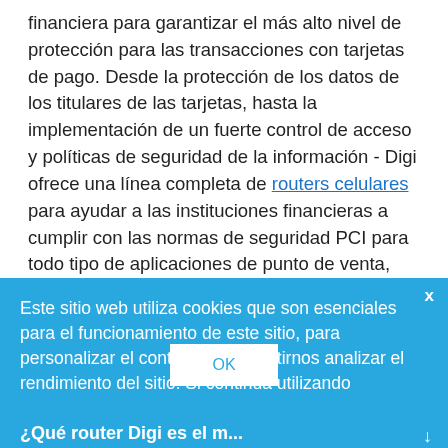financiera para garantizar el más alto nivel de protección para las transacciones con tarjetas de pago. Desde la protección de los datos de los titulares de las tarjetas, hasta la implementación de un fuerte control de acceso y políticas de seguridad de la información - Digi ofrece una línea completa de routers celulares para ayudar a las instituciones financieras a cumplir con las normas de seguridad PCI para todo tipo de aplicaciones de punto de venta, minoristas y bancarias.
Este sitio web utiliza cookies que son esenciales para el funcionamiento de este sitio, para personalizar el contenido y permitirnos analizar el rendimiento del sitio. Si continúa utilizando
OK
¿Qué router Digi es el m...